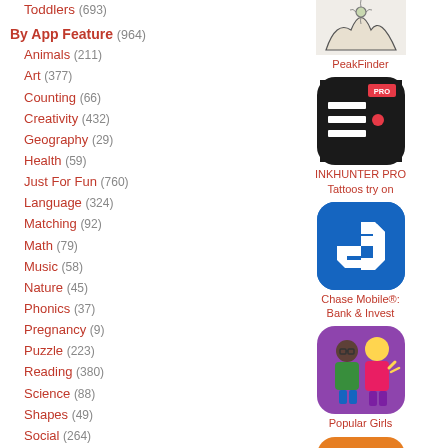Toddlers (693)
By App Feature (964)
Animals (211)
Art (377)
Counting (66)
Creativity (432)
Geography (29)
Health (59)
Just For Fun (760)
Language (324)
Matching (92)
Math (79)
Music (58)
Nature (45)
Phonics (37)
Pregnancy (9)
Puzzle (223)
Reading (380)
Science (88)
Shapes (49)
Social (264)
Sounds (80)
Special Needs (49)
Spelling (30)
[Figure (illustration): PeakFinder app icon - nature/mountain illustration]
PeakFinder
[Figure (illustration): INKHUNTER PRO app icon - black background with white list lines and red dot, PRO badge]
INKHUNTER PRO Tattoos try on
[Figure (illustration): Chase Mobile app icon - blue background with Chase octagon logo in white]
Chase Mobile®: Bank & Invest
[Figure (illustration): Popular Girls app icon - two cartoon female characters on purple background]
Popular Girls
[Figure (illustration): Partial orange app icon at bottom of page]